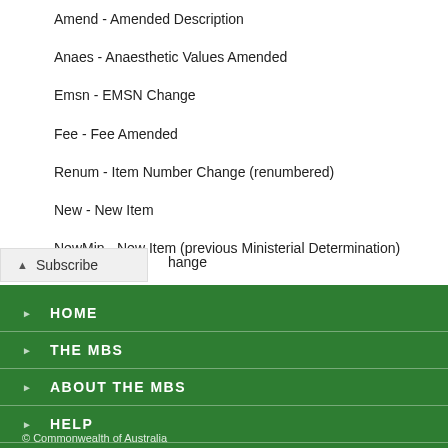Amend - Amended Description
Anaes - Anaesthetic Values Amended
Emsn - EMSN Change
Fee - Fee Amended
Renum - Item Number Change (renumbered)
New - New Item
NewMin - New Item (previous Ministerial Determination)
hange
Subscribe
HOME
THE MBS
ABOUT THE MBS
HELP
© Commonwealth of Australia